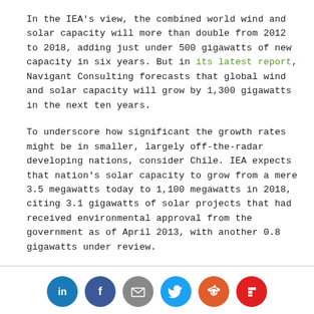In the IEA's view, the combined world wind and solar capacity will more than double from 2012 to 2018, adding just under 500 gigawatts of new capacity in six years. But in its latest report, Navigant Consulting forecasts that global wind and solar capacity will grow by 1,300 gigawatts in the next ten years.
To underscore how significant the growth rates might be in smaller, largely off-the-radar developing nations, consider Chile. IEA expects that nation's solar capacity to grow from a mere 3.5 megawatts today to 1,100 megawatts in 2018, citing 3.1 gigawatts of solar projects that had received environmental approval from the government as of April 2013, with another 0.8 gigawatts under review.
[Figure (infographic): Social sharing icons row: LinkedIn (blue circle with 'in'), Facebook (dark blue circle with 'f'), Email (grey circle with envelope), Twitter (light blue circle with bird), Reddit (orange circle with alien), Flipboard (red circle with 'f')]